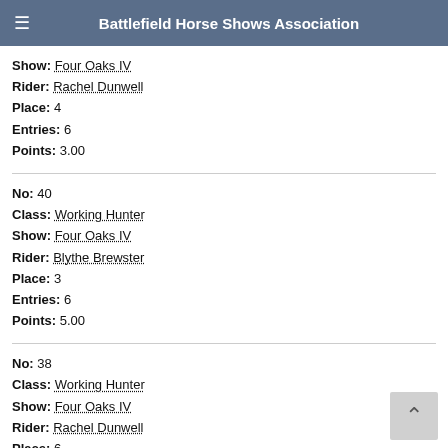Battlefield Horse Shows Association
Show: Four Oaks IV
Rider: Rachel Dunwell
Place: 4
Entries: 6
Points: 3.00
No: 40
Class: Working Hunter
Show: Four Oaks IV
Rider: Blythe Brewster
Place: 3
Entries: 6
Points: 5.00
No: 38
Class: Working Hunter
Show: Four Oaks IV
Rider: Rachel Dunwell
Place: 6
Entries: 6
Points: 1.50